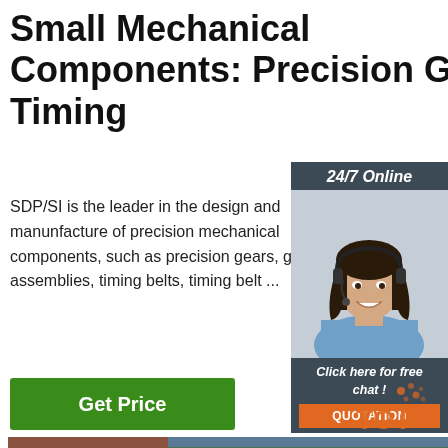Small Mechanical Components: Precision Gears, Timing
SDP/SI is the leader in the design and manunfacture of precision mechanical components, such as precision gears, ge assemblies, timing belts, timing belt ...
[Figure (photo): Customer service representative with headset, 24/7 Online banner, Click here for free chat, QUOTATION button]
[Figure (photo): Stack of steel rods or metal bars, industrial setting, with TOP logo overlay]